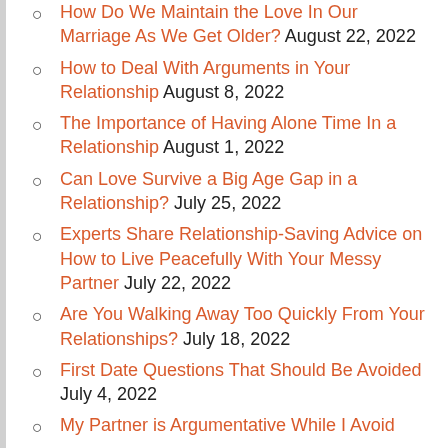How Do We Maintain the Love In Our Marriage As We Get Older? August 22, 2022
How to Deal With Arguments in Your Relationship August 8, 2022
The Importance of Having Alone Time In a Relationship August 1, 2022
Can Love Survive a Big Age Gap in a Relationship? July 25, 2022
Experts Share Relationship-Saving Advice on How to Live Peacefully With Your Messy Partner July 22, 2022
Are You Walking Away Too Quickly From Your Relationships? July 18, 2022
First Date Questions That Should Be Avoided July 4, 2022
My Partner is Argumentative While I Avoid